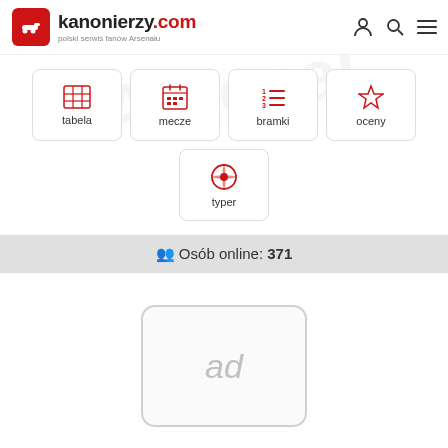kanonierzy.com – polski serwis fanów Arsenalu
tabela
mecze
bramki
oceny
typer
👥 Osób online: 371
[Figure (other): Advertisement placeholder showing 'ad' text in a rounded box]